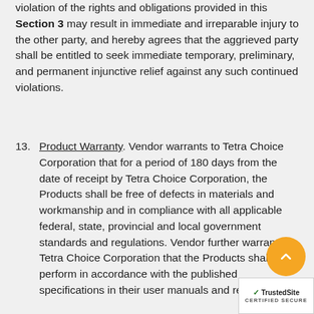violation of the rights and obligations provided in this Section 3 may result in immediate and irreparable injury to the other party, and hereby agrees that the aggrieved party shall be entitled to seek immediate temporary, preliminary, and permanent injunctive relief against any such continued violations.
13. Product Warranty. Vendor warrants to Tetra Choice Corporation that for a period of 180 days from the date of receipt by Tetra Choice Corporation, the Products shall be free of defects in materials and workmanship and in compliance with all applicable federal, state, provincial and local government standards and regulations. Vendor further warrants to Tetra Choice Corporation that the Products shall perform in accordance with the published specifications in their user manuals and related